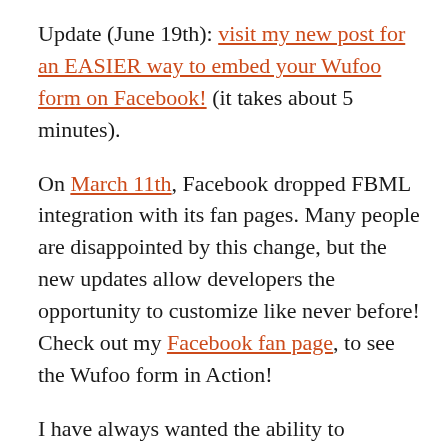Update (June 19th): visit my new post for an EASIER way to embed your Wufoo form on Facebook! (it takes about 5 minutes).
On March 11th, Facebook dropped FBML integration with its fan pages. Many people are disappointed by this change, but the new updates allow developers the opportunity to customize like never before! Check out my Facebook fan page, to see the Wufoo form in Action!
I have always wanted the ability to integrate Wufoo forms with Facebook tabs, and I just figured out a way to accomplish this; it's extremely EASY, so there's no need to worry. The only problem I have found so far is that the form design (aka theme